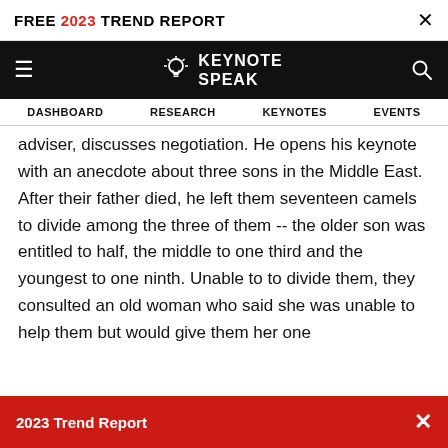FREE 2023 TREND REPORT ×
[Figure (logo): Keynote Speak website navigation bar with hamburger menu, lightbulb logo and KEYNOTE SPEAK text, and search icon on black background]
DASHBOARD   RESEARCH   KEYNOTES   EVENTS
adviser, discusses negotiation. He opens his keynote with an anecdote about three sons in the Middle East. After their father died, he left them seventeen camels to divide among the three of them -- the older son was entitled to half, the middle to one third and the youngest to one ninth. Unable to to divide them, they consulted an old woman who said she was unable to help them but would give them her one
2023 Trend Report ×